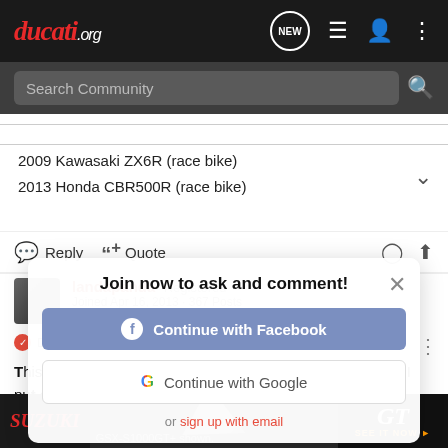ducati.org
Search Community
2009 Kawasaki ZX6R (race bike)
2013 Honda CBR500R (race bike)
Reply   Quote
landapanda   Registered
Joined Apr 16, 2013 · 367 Posts
Discussion Starter · #8 · Apr 24, 2013
This is quite strange, but the issue appears to be resolved. I put about 100 miles on the bike since I got it last week and now am able to s
[Figure (screenshot): Join now to ask and comment! modal overlay with Continue with Facebook and Continue with Google buttons and sign up with email link]
[Figure (screenshot): Suzuki GSX-S1000GT+ advertisement banner at the bottom]